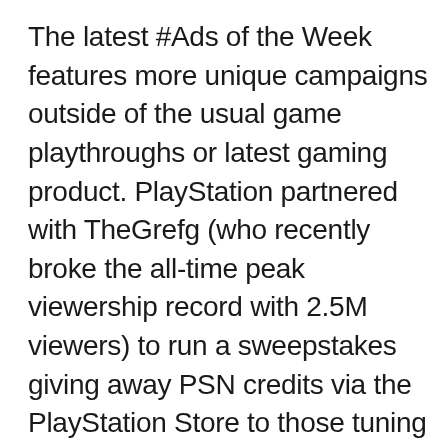The latest #Ads of the Week features more unique campaigns outside of the usual game playthroughs or latest gaming product. PlayStation partnered with TheGrefg (who recently broke the all-time peak viewership record with 2.5M viewers) to run a sweepstakes giving away PSN credits via the PlayStation Store to those tuning in. Creating incentives for viewers to watch and earn rewards is a great example of taking an extra step to create better engagement and lasting impressions. Next, Swagg worked with the CW network to promote their new original series, Walker.